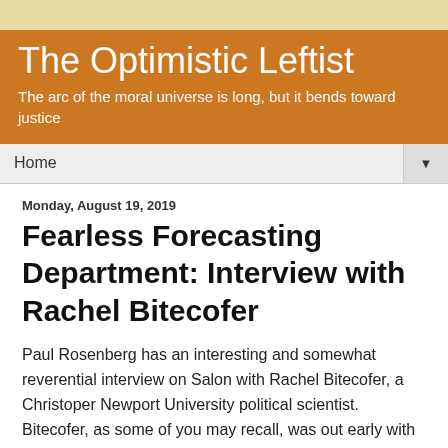The Optimistic Leftist
The arc of the moral universe is long, but it bends toward justice
Home
Monday, August 19, 2019
Fearless Forecasting Department: Interview with Rachel Bitecofer
Paul Rosenberg has an interesting and somewhat reverential interview on Salon with Rachel Bitecofer, a Christoper Newport University political scientist. Bitecofer, as some of you may recall, was out early with a very accurate and detailed model-based